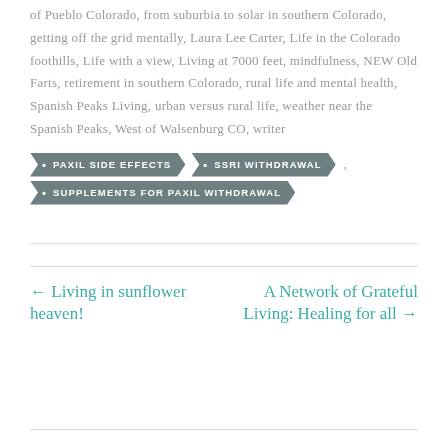of Pueblo Colorado, from suburbia to solar in southern Colorado, getting off the grid mentally, Laura Lee Carter, Life in the Colorado foothills, Life with a view, Living at 7000 feet, mindfulness, NEW Old Farts, retirement in southern Colorado, rural life and mental health, Spanish Peaks Living, urban versus rural life, weather near the Spanish Peaks, West of Walsenburg CO, writer
PAXIL SIDE EFFECTS
SSRI WITHDRAWAL
SUPPLEMENTS FOR PAXIL WITHDRAWAL
← Living in sunflower heaven!
A Network of Grateful Living: Healing for all →